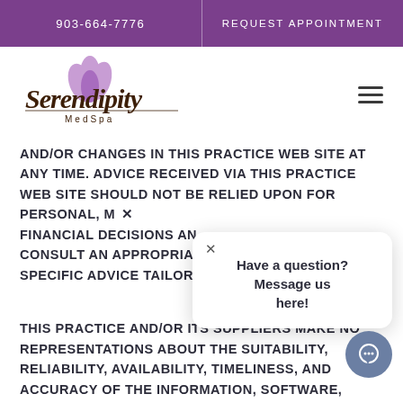903-664-7776   REQUEST APPOINTMENT
[Figure (logo): Serendipity MedSpa logo with stylized script text and purple lotus flower]
AND/OR CHANGES IN THIS PRACTICE WEB SITE AT ANY TIME. ADVICE RECEIVED VIA THIS PRACTICE WEB SITE SHOULD NOT BE RELIED UPON FOR PERSONAL, M... FINANCIAL DECISIONS AN... CONSULT AN APPROPRIAT... SPECIFIC ADVICE TAILORE...
Have a question? Message us here!
THIS PRACTICE AND/OR ITS SUPPLIERS MAKE NO REPRESENTATIONS ABOUT THE SUITABILITY, RELIABILITY, AVAILABILITY, TIMELINESS, AND ACCURACY OF THE INFORMATION, SOFTWARE,